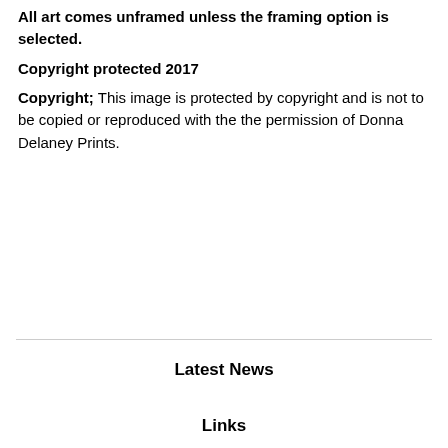All art comes unframed unless the framing option is selected.
Copyright protected 2017
Copyright; This image is protected by copyright and is not to be copied or reproduced with the the permission of Donna Delaney Prints.
Latest News
Links